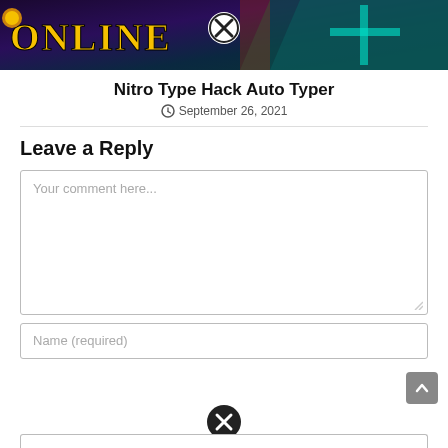[Figure (screenshot): Dark gaming banner with 'ONLINE' text in yellow, a circled X button in the center, and teal/dark purple game artwork on the right]
Nitro Type Hack Auto Typer
September 26, 2021
Leave a Reply
Your comment here...
Name (required)